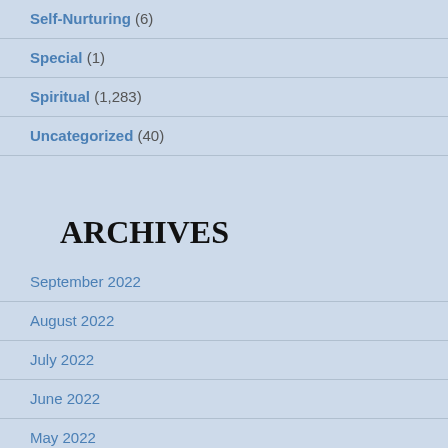Self-Nurturing (6)
Special (1)
Spiritual (1,283)
Uncategorized (40)
ARCHIVES
September 2022
August 2022
July 2022
June 2022
May 2022
April 2022